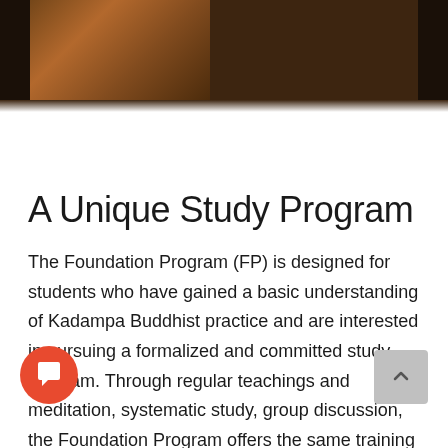[Figure (photo): Dark photograph strip at top showing a person in dark clothing, partially visible, with warm brown and orange tones]
A Unique Study Program
The Foundation Program (FP) is designed for students who have gained a basic understanding of Kadampa Buddhist practice and are interested in pursuing a formalized and committed study program. Through regular teachings and meditation, systematic study, group discussion, the Foundation Program offers the same training followed by spiritual practitioners in an unbroken lineage dating back to Buddha